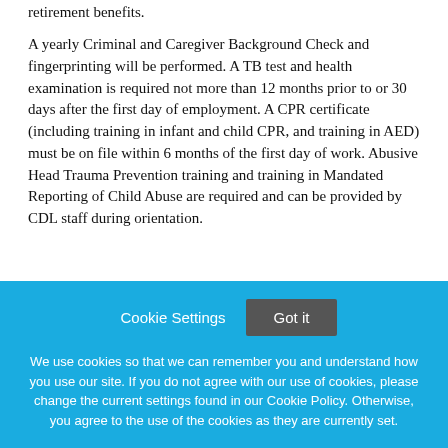retirement benefits.
A yearly Criminal and Caregiver Background Check and fingerprinting will be performed. A TB test and health examination is required not more than 12 months prior to or 30 days after the first day of employment. A CPR certificate (including training in infant and child CPR, and training in AED) must be on file within 6 months of the first day of work. Abusive Head Trauma Prevention training and training in Mandated Reporting of Child Abuse are required and can be provided by CDL staff during orientation.
Cookie Settings  Got it
We use cookies so that we can remember you and understand how you use our site. If you do not agree with our use of cookies, please change the current settings found in our Cookie Policy. Otherwise, you agree to the use of the cookies as they are currently set.